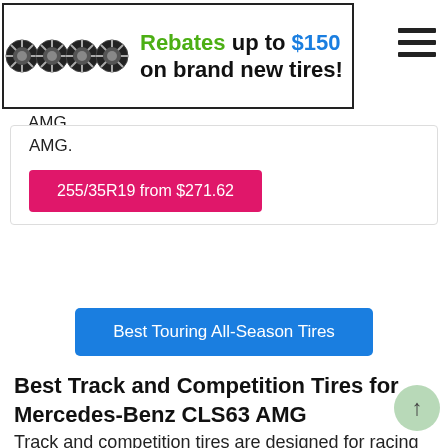[Figure (infographic): Advertisement banner showing four black tire rims on the left, with text 'Rebates up to $150 on brand new tires!' on the right, inside a bordered box. A hamburger menu icon is in the top right corner.]
AMG.
255/35R19 from $271.62
Best Touring All-Season Tires
Best Track and Competition Tires for Mercedes-Benz CLS63 AMG
Track and competition tires are designed for racing enthusiasts to maximize performance on racetracks, while some are also suitable for street use.
[Figure (photo): Partial view of a tire, appears to be a Pirelli branded tire, bottom of page.]